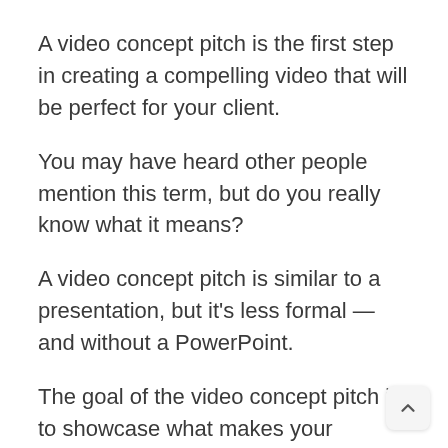A video concept pitch is the first step in creating a compelling video that will be perfect for your client.
You may have heard other people mention this term, but do you really know what it means?
A video concept pitch is similar to a presentation, but it's less formal — and without a PowerPoint.
The goal of the video concept pitch is to showcase what makes your business unic by using a series of slides with motion and